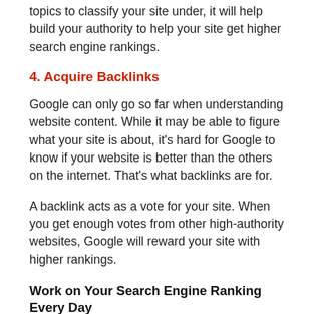topics to classify your site under, it will help build your authority to help your site get higher search engine rankings.
4. Acquire Backlinks
Google can only go so far when understanding website content. While it may be able to figure what your site is about, it’s hard for Google to know if your website is better than the others on the internet. That’s what backlinks are for.
A backlink acts as a vote for your site. When you get enough votes from other high-authority websites, Google will reward your site with higher rankings.
Work on Your Search Engine Ranking Every Day